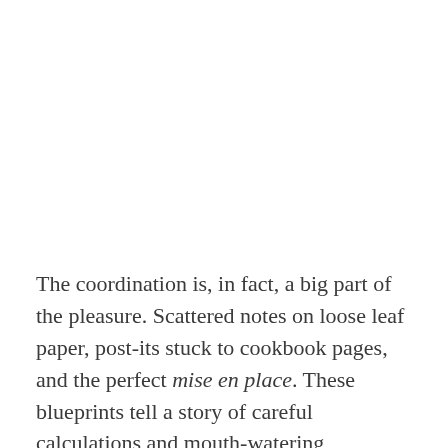The coordination is, in fact, a big part of the pleasure. Scattered notes on loose leaf paper, post-its stuck to cookbook pages, and the perfect mise en place. These blueprints tell a story of careful calculations and mouth-watering anticipation, and flipping back through past meal preps is like looking at old photos, delighting in the